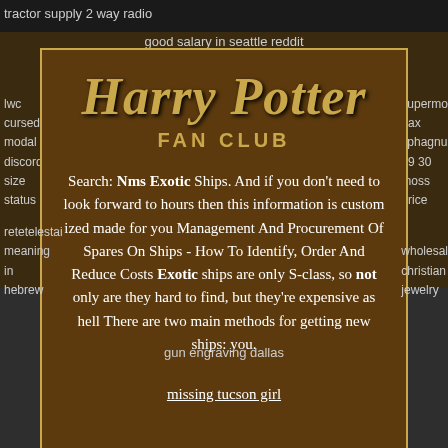tractor supply 2 way radio
good salary in seattle reddit
lwc cursed modal discord size status
supermo pax sphagnum a9 30 moss price
Harry Potter FAN CLUB
Search: Nms Exotic Ships. And if you don't need to look forward to hours then this information is custom ized made for you Management And Procurement Of Spares On Ships - How To Identify, Order And Reduce Costs Exotic ships are only S-class, so not only are they hard to find, but they're expensive as hell There are two main methods for getting new ships: you.
missing tucson girl
retetelestai meaning in hebrew
gun engraving dallas
wholesale christian jewelry